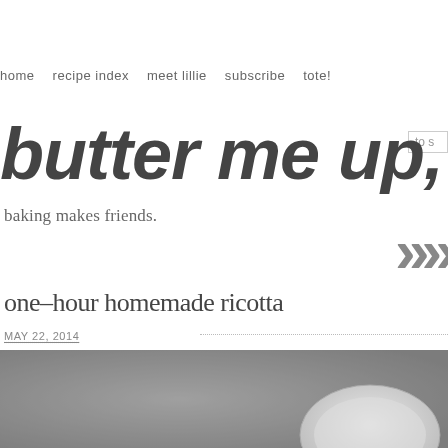home   recipe index   meet lillie   subscribe   tote!   to s
butter me up, Brooklyn
baking makes friends.
one-hour homemade ricotta
MAY 22, 2014
[Figure (photo): Overhead photo of a bowl of homemade ricotta on a grey background]